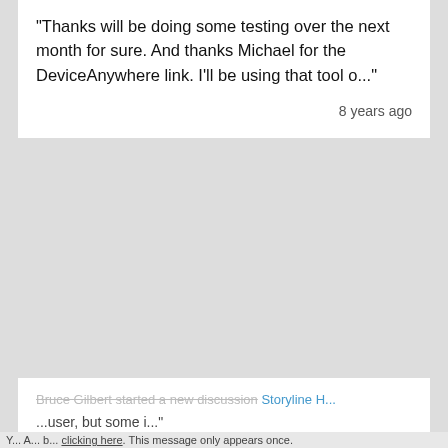"Thanks will be doing some testing over the next month for sure. And thanks Michael for the DeviceAnywhere link. I'll be using that tool o..."
8 years ago
Bruce Gilbert started a new discussion Storyline H...
...user, but some i...
ears ago
This website stores data such as cookies to enable essential site functionality, as well as marketing, personalization, and analytics. By remaining on this website you indicate your consent.
Privacy Notice
Accept and Close ✕
Y... A... b... clicking here. This message only appears once.